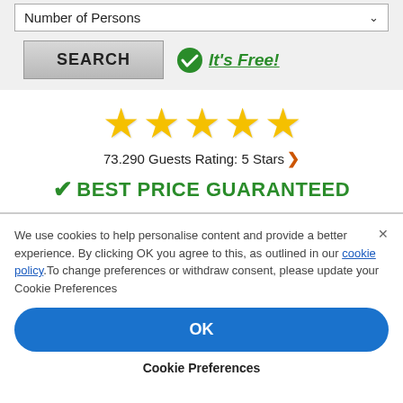Number of Persons
SEARCH
It's Free!
[Figure (other): Five gold stars rating display]
73.290 Guests Rating: 5 Stars
BEST PRICE GUARANTEED
We use cookies to help personalise content and provide a better experience. By clicking OK you agree to this, as outlined in our cookie policy.To change preferences or withdraw consent, please update your Cookie Preferences
OK
Cookie Preferences